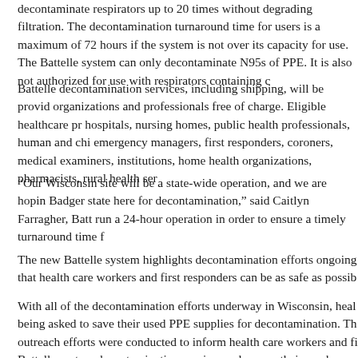decontaminate respirators up to 20 times without degrading filtration. The decontamination turnaround time for users is a maximum of 72 hours if the system is not over its capacity for use. The Battelle system can only decontaminate N95s of PPE. It is also not authorized for use with respirators containing cellulose.
Battelle decontamination services, including shipping, will be provided to eligible organizations and professionals free of charge. Eligible healthcare providers include hospitals, nursing homes, public health professionals, human and children's services, emergency managers, first responders, coroners, medical examiners, correctional institutions, home health organizations, pharmacists, rural health services, and others.
“Our Wisconsin site will be a state-wide operation, and we are hoping to serve the Badger state here for decontamination,” said Caitlyn Farragher, Battelle. “We plan to run a 24-hour operation in order to ensure a timely turnaround time for users.”
The new Battelle system highlights decontamination efforts ongoing across the state that health care workers and first responders can be as safe as possible.
With all of the decontamination efforts underway in Wisconsin, healthcare workers are being asked to save their used PPE supplies for decontamination. The following outreach efforts were conducted to inform health care workers and first responders of the Battelle system decontamination service, and ensure their masks are being saved: